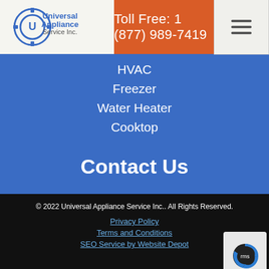[Figure (logo): Universal Appliance Service Inc. logo with gear icon]
Toll Free: 1 (877) 989-7419
HVAC
Freezer
Water Heater
Cooktop
Contact Us
Give us a call
Phone: 818-832-5318
[Figure (illustration): Facebook and Twitter social media icons]
© 2022 Universal Appliance Service Inc.. All Rights Reserved.
Privacy Policy
Terms and Conditions
SEO Service by Website Depot
[Figure (logo): reCAPTCHA badge]